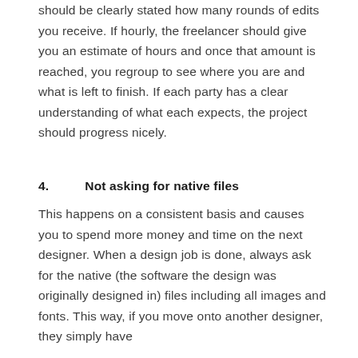should be clearly stated how many rounds of edits you receive. If hourly, the freelancer should give you an estimate of hours and once that amount is reached, you regroup to see where you are and what is left to finish. If each party has a clear understanding of what each expects, the project should progress nicely.
4.     Not asking for native files
This happens on a consistent basis and causes you to spend more money and time on the next designer. When a design job is done, always ask for the native (the software the design was originally designed in) files including all images and fonts. This way, if you move onto another designer, they simply have